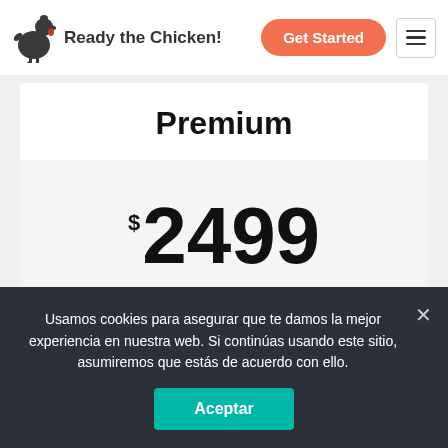Ready the Chicken!
Premium
$2499
Usamos cookies para asegurar que te damos la mejor experiencia en nuestra web. Si continúas usando este sitio, asumiremos que estás de acuerdo con ello.
Aceptar